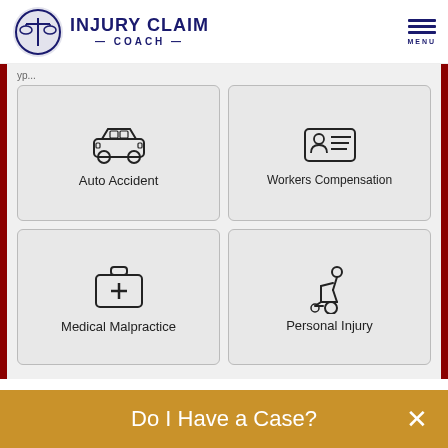[Figure (logo): Injury Claim Coach logo with scales of justice icon and text]
[Figure (infographic): Four claim type selection cards: Auto Accident (car icon), Workers Compensation (ID card icon), Medical Malpractice (medical kit icon), Personal Injury (wheelchair icon)]
When did the incident occur?
mm/dd/yyyy
Was the accident your fault?
Do I Have a Case?